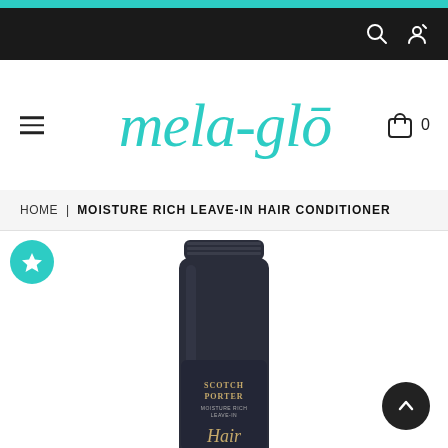mela-glō — e-commerce website header
HOME | MOISTURE RICH LEAVE-IN HAIR CONDITIONER
[Figure (photo): Dark navy squeeze tube of Scotch Porter Moisture Rich Leave-In Hair Conditioner product]
SCOTCH PORTER
MOISTURE RICH LEAVE-IN
Hair